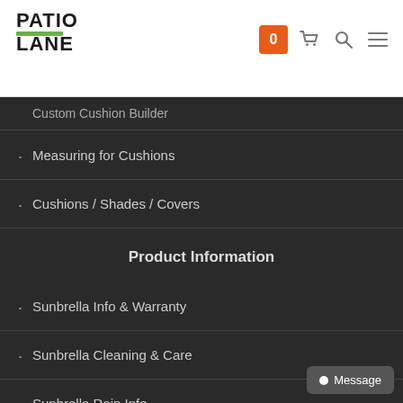[Figure (logo): Patio Lane logo with green underline bar]
[Figure (screenshot): Shopping cart with orange badge showing 0, search icon, and hamburger menu icon]
Custom Cushion Builder (partially visible, cut off)
Measuring for Cushions
Cushions / Shades / Covers
Product Information
Sunbrella Info & Warranty
Sunbrella Cleaning & Care
Sunbrella Rain Info
Sunbrella Retractable Patio Shade